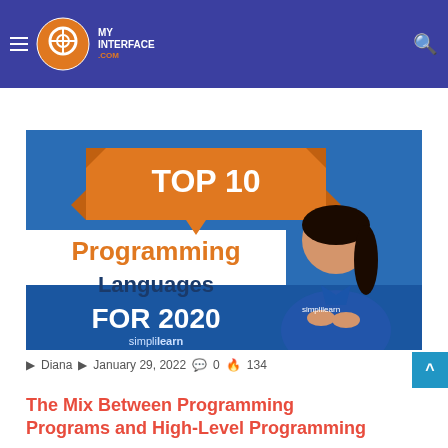My Interface — navigation header with hamburger menu, logo, and search icon
Administrations Should Be Changed — article text behind header (partial, obscured)
what programs for the United States to cease... Terrorism and Other attacks...
Read More »
[Figure (photo): Simplilearn promotional thumbnail showing TOP 10 Programming Languages FOR 2020 on a blue background with an orange ribbon banner, and a woman presenter in a blue polo shirt. Text includes 'simplilearn' branding.]
Diana  January 29, 2022  0  134
The Mix Between Programming Programs and High-Level Programming